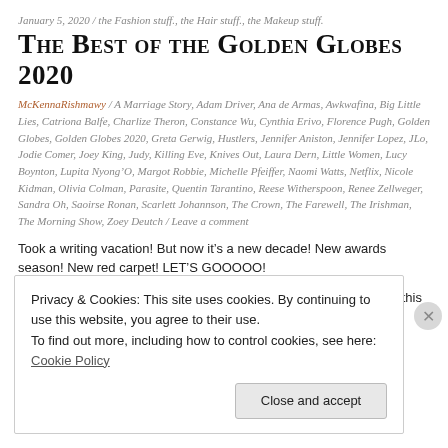January 5, 2020 / the Fashion stuff., the Hair stuff., the Makeup stuff.
The Best of the Golden Globes 2020
McKennaRishmawy / A Marriage Story, Adam Driver, Ana de Armas, Awkwafina, Big Little Lies, Catriona Balfe, Charlize Theron, Constance Wu, Cynthia Erivo, Florence Pugh, Golden Globes, Golden Globes 2020, Greta Gerwig, Hustlers, Jennifer Aniston, Jennifer Lopez, JLo, Jodie Comer, Joey King, Judy, Killing Eve, Knives Out, Laura Dern, Little Women, Lucy Boynton, Lupita Nyong'O, Margot Robbie, Michelle Pfeiffer, Naomi Watts, Netflix, Nicole Kidman, Olivia Colman, Parasite, Quentin Tarantino, Reese Witherspoon, Renee Zellweger, Sandra Oh, Saoirse Ronan, Scarlett Johannson, The Crown, The Farewell, The Irishman, The Morning Show, Zoey Deutch / Leave a comment
Took a writing vacation! But now it’s a new decade! New awards season! New red carpet! LET’S GOOOOO!
But first, a quick sidenote- I feel like people kind of lost their minds this
Privacy & Cookies: This site uses cookies. By continuing to use this website, you agree to their use.
To find out more, including how to control cookies, see here: Cookie Policy
Close and accept